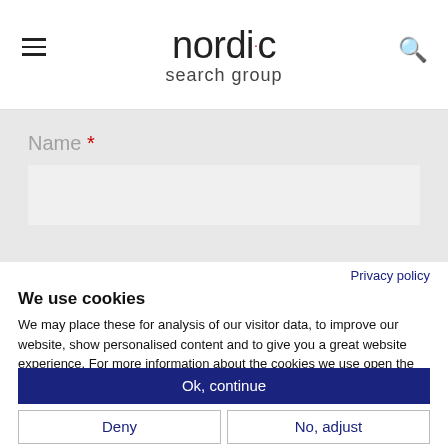nordic search group
Name *
Privacy policy
We use cookies
We may place these for analysis of our visitor data, to improve our website, show personalised content and to give you a great website experience. For more information about the cookies we use open the settings.
Ok, continue
Deny
No, adjust